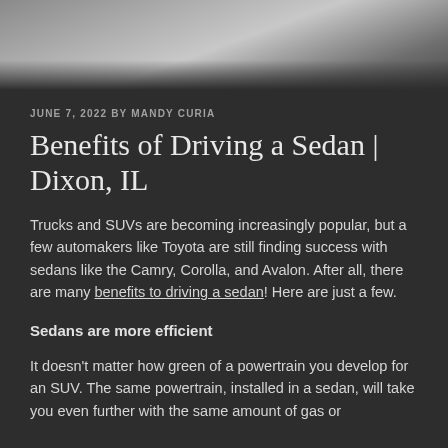[Figure (photo): Aerial or close-up view of a road surface, dark asphalt, gray tones, blurred motion effect]
JUNE 7, 2022 BY MANDY CURIA
Benefits of Driving a Sedan | Dixon, IL
Trucks and SUVs are becoming increasingly popular, but a few automakers like Toyota are still finding success with sedans like the Camry, Corolla, and Avalon. After all, there are many benefits to driving a sedan! Here are just a few.
Sedans are more efficient
It doesn't matter how green of a powertrain you develop for an SUV. The same powertrain, installed in a sedan, will take you even further with the same amount of gas or